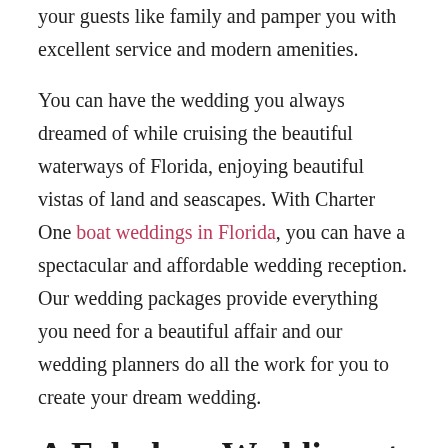your guests like family and pamper you with excellent service and modern amenities.
You can have the wedding you always dreamed of while cruising the beautiful waterways of Florida, enjoying beautiful vistas of land and seascapes. With Charter One boat weddings in Florida, you can have a spectacular and affordable wedding reception. Our wedding packages provide everything you need for a beautiful affair and our wedding planners do all the work for you to create your dream wedding.
A Fabulous Wedding at Sea
Our stunning luxury yachts are the ideal backdrop for a beautiful affair and offer you and your guests: comfort,